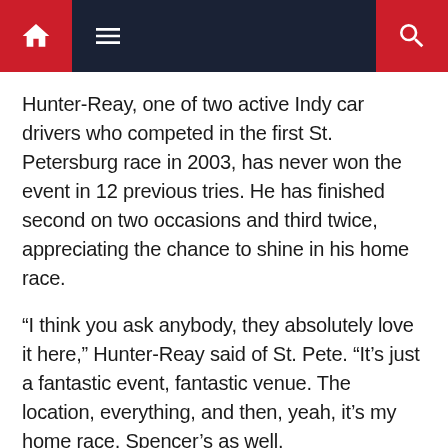Navigation bar with home, menu, and search icons
Hunter-Reay, one of two active Indy car drivers who competed in the first St. Petersburg race in 2003, has never won the event in 12 previous tries. He has finished second on two occasions and third twice, appreciating the chance to shine in his home race.
“I think you ask anybody, they absolutely love it here,” Hunter-Reay said of St. Pete. “It’s just a fantastic event, fantastic venue. The location, everything, and then, yeah, it’s my home race, Spencer’s as well.
“It always feels important to do well here, not only because of that, but it’s the start of the season. It kicks off the momentum that you’re going to roll into the next string of races before we get to Indy. It’s a fantastic layout, a lot of fun from behind the wheel, and this city, this town, the